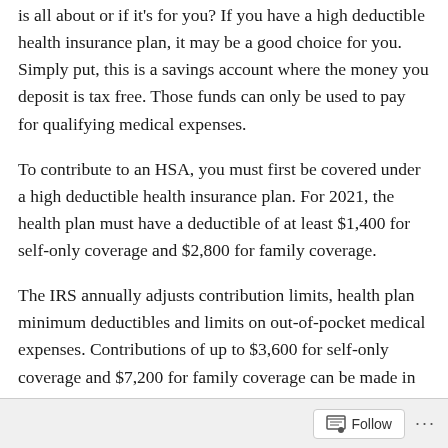is all about or if it's for you? If you have a high deductible health insurance plan, it may be a good choice for you. Simply put, this is a savings account where the money you deposit is tax free. Those funds can only be used to pay for qualifying medical expenses.
To contribute to an HSA, you must first be covered under a high deductible health insurance plan. For 2021, the health plan must have a deductible of at least $1,400 for self-only coverage and $2,800 for family coverage.
The IRS annually adjusts contribution limits, health plan minimum deductibles and limits on out-of-pocket medical expenses. Contributions of up to $3,600 for self-only coverage and $7,200 for family coverage can be made in 2021. If you're 55 or older at the end of the year, you can
Follow